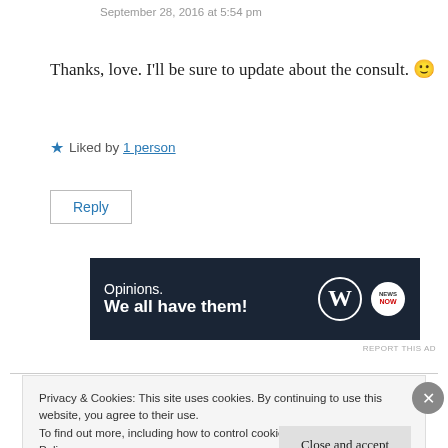September 28, 2016 at 5:54 pm
Thanks, love. I'll be sure to update about the consult. 🙂
★ Liked by 1 person
Reply
[Figure (other): WordPress advertisement banner: 'Opinions. We all have them!' with WordPress and brand logos on dark navy background]
REPORT THIS AD
Privacy & Cookies: This site uses cookies. By continuing to use this website, you agree to their use.
To find out more, including how to control cookies, see here: Cookie Policy
Close and accept